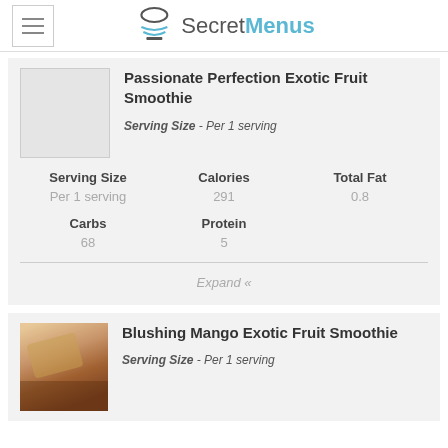SecretMenus
Passionate Perfection Exotic Fruit Smoothie
Serving Size - Per 1 serving
| Serving Size | Calories | Total Fat |
| --- | --- | --- |
| Per 1 serving | 291 | 0.8 |
| Carbs | Protein |  |
| 68 | 5 |  |
Expand «
Blushing Mango Exotic Fruit Smoothie
Serving Size - Per 1 serving